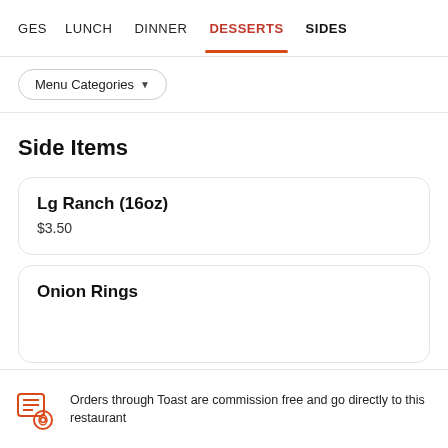GES  LUNCH  DINNER  DESSERTS  SIDES
Menu Categories ▼
Side Items
Lg Ranch (16oz)
$3.50
Onion Rings
Orders through Toast are commission free and go directly to this restaurant